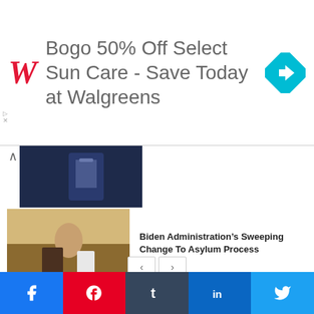[Figure (infographic): Walgreens advertisement banner: Bogo 50% Off Select Sun Care - Save Today at Walgreens, with Walgreens red W logo and blue diamond navigation arrow icon]
[Figure (photo): Partial news thumbnail image - dark background, person visible]
[Figure (photo): News thumbnail of person with luggage at airport]
Biden Administration’s Sweeping Change To Asylum Process
We use cookies on our website to give you the most relevant experience by remembering your preferences and repeat visits. By clicking “Accept”, you consent to the use of ALL the cookies.
Do not sell my personal information.